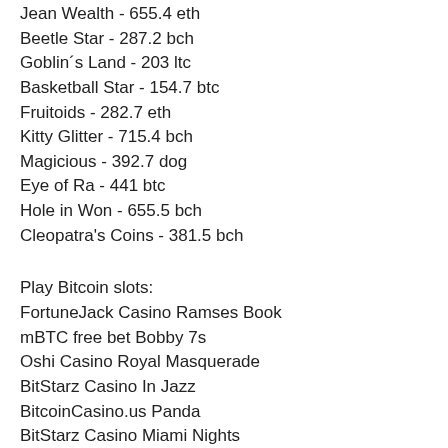Jean Wealth - 655.4 eth
Beetle Star - 287.2 bch
Goblin´s Land - 203 ltc
Basketball Star - 154.7 btc
Fruitoids - 282.7 eth
Kitty Glitter - 715.4 bch
Magicious - 392.7 dog
Eye of Ra - 441 btc
Hole in Won - 655.5 bch
Cleopatra's Coins - 381.5 bch
Play Bitcoin slots:
FortuneJack Casino Ramses Book
mBTC free bet Bobby 7s
Oshi Casino Royal Masquerade
BitStarz Casino In Jazz
BitcoinCasino.us Panda
BitStarz Casino Miami Nights
Oshi Casino Jewels
Vegas Crest Casino Fruitburst